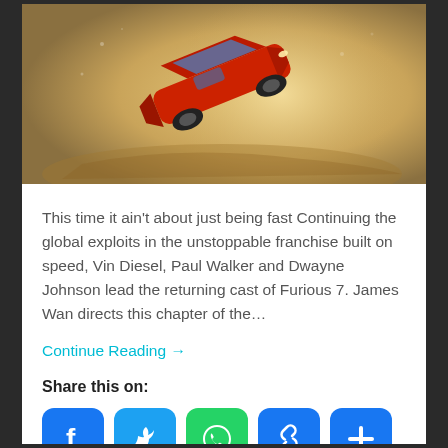[Figure (photo): A red sports car airborne/jumping, set against a sandy/dusty golden background – movie promotional image for Furious 7]
This time it ain't about just being fast Continuing the global exploits in the unstoppable franchise built on speed, Vin Diesel, Paul Walker and Dwayne Johnson lead the returning cast of Furious 7. James Wan directs this chapter of the…
Continue Reading →
Share this on:
[Figure (other): Social share buttons: Facebook (blue f icon), Twitter (blue bird icon), WhatsApp (green speech bubble icon), Link/copy icon (blue), More/plus icon (blue)]